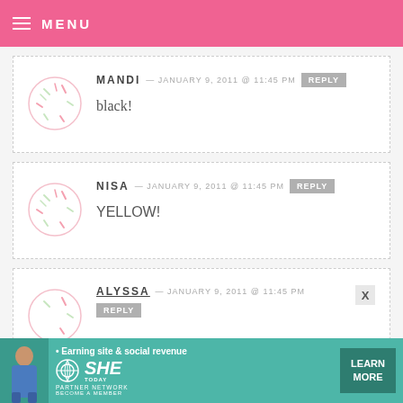MENU
MANDI — JANUARY 9, 2011 @ 11:45 PM [REPLY]
black!
NISA — JANUARY 9, 2011 @ 11:45 PM [REPLY]
YELLOW!
ALYSSA — JANUARY 9, 2011 @ 11:45 PM [REPLY]
[Figure (infographic): Advertisement banner for SHE Media Partner Network with text: Earning site & social revenue, LEARN MORE, BECOME A MEMBER]